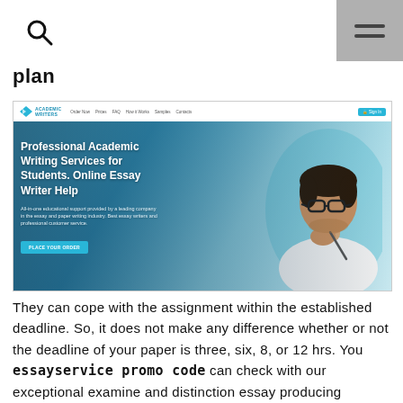search icon | hamburger menu
plan
[Figure (screenshot): Screenshot of Academic Writers website showing navigation bar with links (Order Now, Prices, FAQ, How It Works, Samples, Contacts, Sign In button) and a hero banner with a man wearing glasses thinking with a pen, with text: 'Professional Academic Writing Services for Students. Online Essay Writer Help' and subtitle 'All-in-one educational support provided by a leading company in the essay and paper writing industry. Best essay writers and professional customer service.' and a 'PLACE YOUR ORDER' button.]
They can cope with the assignment within the established deadline. So, it does not make any difference whether or not the deadline of your paper is three, six, 8, or 12 hrs. You essayservice promo code can check with our exceptional examine and distinction essay producing support for